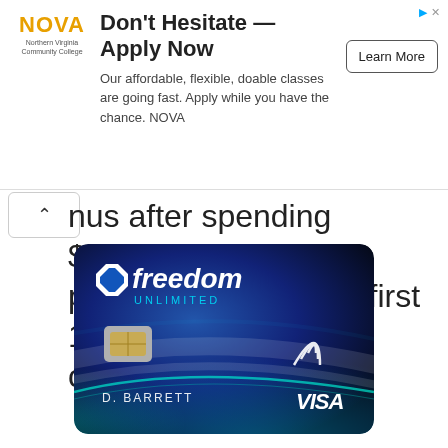[Figure (other): NOVA Northern Virginia Community College advertisement banner with 'Don't Hesitate — Apply Now' headline, description text 'Our affordable, flexible, doable classes are going fast. Apply while you have the chance. NOVA', and a 'Learn More' button.]
nus after spending $1,000 in eligible purchases within the first 120 days of account opening.
[Figure (photo): Chase Freedom Unlimited credit card image showing a blue card with Chase logo, 'freedom UNLIMITED' text, a chip, contactless payment symbol, cardholder name 'D. BARRETT', and VISA logo.]